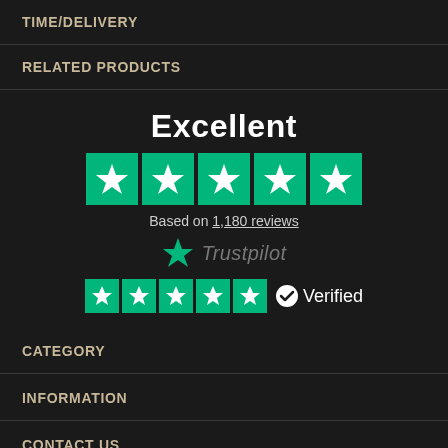TIME/DELIVERY
RELATED PRODUCTS
Excellent
[Figure (infographic): Five green Trustpilot star rating boxes in a row, indicating 5-star rating]
Based on 1,180 reviews
[Figure (logo): Trustpilot logo with green star and italic Trustpilot text in grey]
[Figure (infographic): Five smaller green Trustpilot star rating boxes with a verified checkmark badge and Verified text]
CATEGORY
INFORMATION
CONTACT US
[Figure (infographic): Social media icons: Facebook and Twitter in grey]